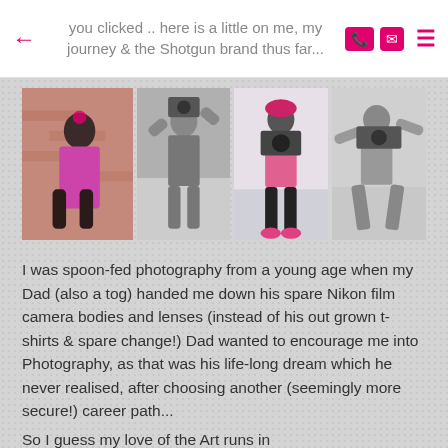you clicked .. here is a little on me, my journey & the Shotgun brand thus far...
[Figure (photo): Four photos of a female photographer: one posed against a brick wall in colorful outfit, three action shots of photographer shooting with camera in various stances]
I was spoon-fed photography from a young age when my Dad (also a tog) handed me down his spare Nikon film camera bodies and lenses (instead of his out grown t-shirts & spare change!) Dad wanted to encourage me into Photography, as that was his life-long dream which he never realised, after choosing another (seemingly more secure!) career path...
So I guess my love of the Art runs in